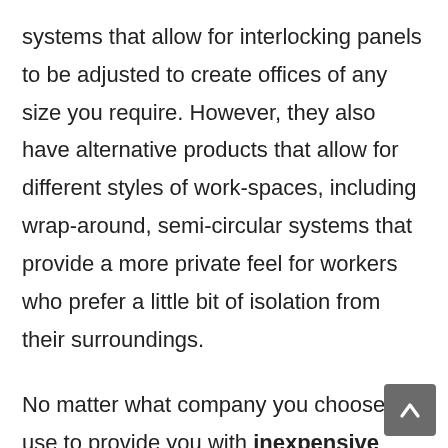systems that allow for interlocking panels to be adjusted to create offices of any size you require. However, they also have alternative products that allow for different styles of work-spaces, including wrap-around, semi-circular systems that provide a more private feel for workers who prefer a little bit of isolation from their surroundings.

No matter what company you choose to use to provide you with inexpensive office cubicles, one of the most